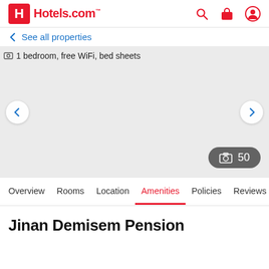Hotels.com
← See all properties
[Figure (photo): Hotel room photo carousel showing '1 bedroom, free WiFi, bed sheets' with left/right navigation arrows and a photo count badge showing 50]
Overview  Rooms  Location  Amenities  Policies  Reviews
Jinan Demisem Pension